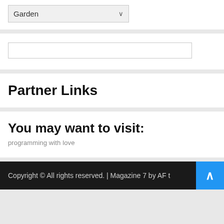[Figure (screenshot): Dropdown select box showing 'Garden' with a chevron arrow]
[Figure (screenshot): Empty search input text box]
Partner Links
You may want to visit:
programming with love
Copyright © All rights reserved. | Magazine 7 by AF t